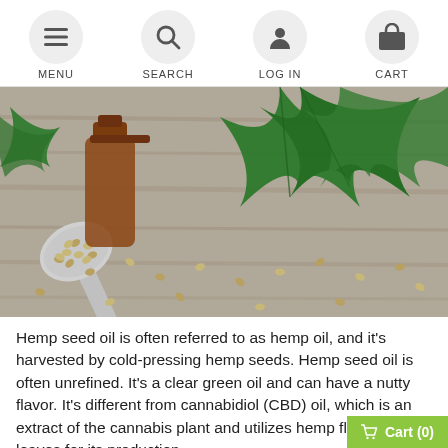MENU  SEARCH  LOG IN  CART
[Figure (photo): A spoonful of hemp seeds spilling onto a weathered wooden surface, with a dark amber bottle and large green cannabis leaves in the background.]
Hemp seed oil is often referred to as hemp oil, and it's harvested by cold-pressing hemp seeds. Hemp seed oil is often unrefined. It's a clear green oil and can have a nutty flavor. It's different from cannabidiol (CBD) oil, which is an extract of the cannabis plant and utilizes hemp flowers and leaves for its production.